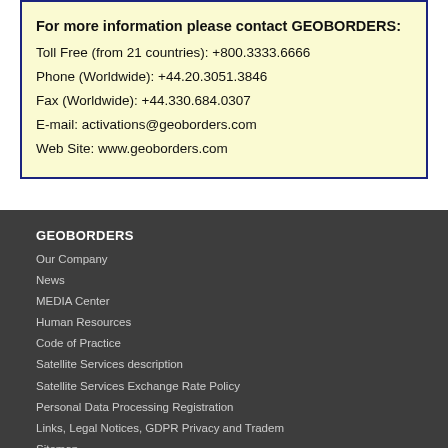For more information please contact GEOBORDERS:
Toll Free (from 21 countries): +800.3333.6666
Phone (Worldwide): +44.20.3051.3846
Fax (Worldwide): +44.330.684.0307
E-mail: activations@geoborders.com
Web Site: www.geoborders.com
GEOBORDERS
Our Company
News
MEDIA Center
Human Resources
Code of Practice
Satellite Services description
Satellite Services Exchange Rate Policy
Personal Data Processing Registration
Links, Legal Notices, GDPR Privacy and Tradem
Sitemap
CONTACT US
PHONE Contacts
EMAIL Contacts